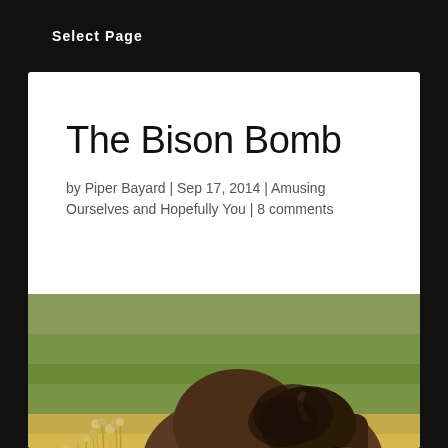Select Page
The Bison Bomb
by Piper Bayard | Sep 17, 2014 | Amusing Ourselves and Hopefully You | 8 comments
[Figure (photo): A large bison standing in a grassy field, facing the camera. The animal has a dark brown shaggy coat and prominent hump. Dry golden grass and wildflowers visible in the foreground and background.]